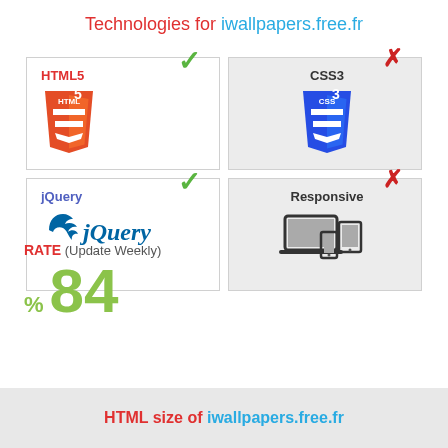Technologies for iwallpapers.free.fr
[Figure (infographic): Four technology boxes in a 2x2 grid. Top-left: HTML5 with green checkmark and HTML5 shield logo. Top-right: CSS3 with red X and CSS3 shield logo. Bottom-left: jQuery with green checkmark and jQuery logo. Bottom-right: Responsive with red X and responsive devices icon.]
RATE (Update Weekly)
% 84
HTML size of iwallpapers.free.fr